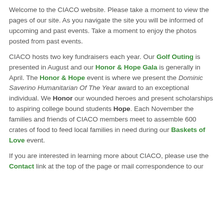Welcome to the CIACO website. Please take a moment to view the pages of our site. As you navigate the site you will be informed of upcoming and past events. Take a moment to enjoy the photos posted from past events.
CIACO hosts two key fundraisers each year. Our Golf Outing is presented in August and our Honor & Hope Gala is generally in April. The Honor & Hope event is where we present the Dominic Saverino Humanitarian Of The Year award to an exceptional individual. We Honor our wounded heroes and present scholarships to aspiring college bound students Hope. Each November the families and friends of CIACO members meet to assemble 600 crates of food to feed local families in need during our Baskets of Love event.
If you are interested in learning more about CIACO, please use the Contact link at the top of the page or mail correspondence to our